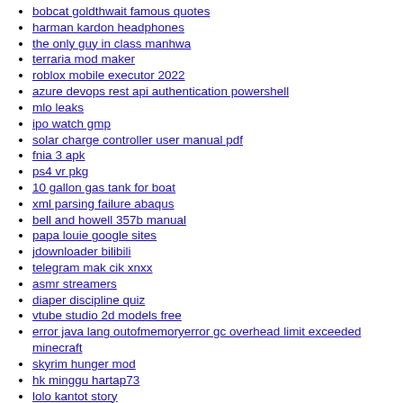bobcat goldthwait famous quotes
harman kardon headphones
the only guy in class manhwa
terraria mod maker
roblox mobile executor 2022
azure devops rest api authentication powershell
mlo leaks
ipo watch gmp
solar charge controller user manual pdf
fnia 3 apk
ps4 vr pkg
10 gallon gas tank for boat
xml parsing failure abaqus
bell and howell 357b manual
papa louie google sites
jdownloader bilibili
telegram mak cik xnxx
asmr streamers
diaper discipline quiz
vtube studio 2d models free
error java lang outofmemoryerror gc overhead limit exceeded minecraft
skyrim hunger mod
hk minggu hartap73
lolo kantot story